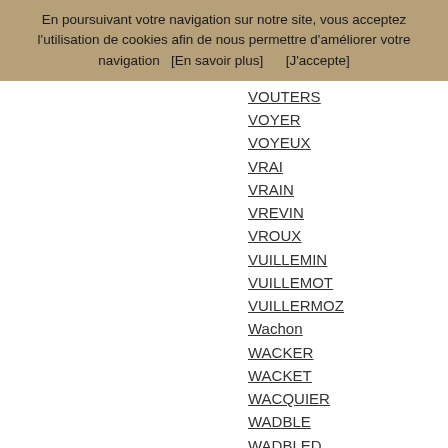En poursuivant votre navigation sur notre site, vous acceptez l'utilisation de cookies afin de nous permettre d'améliorer votre navigation   [En savoir plus]        [J'accepte]
VOUTERS
VOYER
VOYEUX
VRAI
VRAIN
VREVIN
VROUX
VUILLEMIN
VUILLEMOT
VUILLERMOZ
Wachon
WACKER
WACKET
WACQUIER
WADBLE
WADBLED
WAESSEM
WAFFLARD
WAFFLART
WAFLART
WAGER
WAGNER